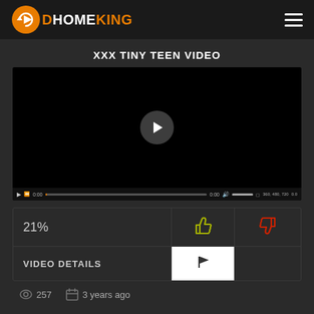[Figure (logo): HomeKing logo with orange circular arrow icon and text HOMEKING]
XXX TINY TEEN VIDEO
[Figure (screenshot): Video player with black screen, play button in center, and video controls bar at bottom showing 0:00 timestamps and resolution options 360, 480, 720]
| 21% | thumbs up | thumbs down |
| --- | --- | --- |
| VIDEO DETAILS | flag icon |  |
257   3 years ago